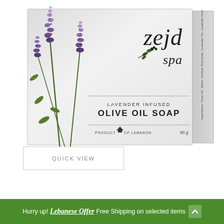[Figure (photo): Product photo of Zejd Spa Lavender Infused Olive Oil Soap box (90g), white/grey box with lavender plant illustration on left side, brand name 'zejd spa' with olive branch icon on front, text 'LAVENDER INFUSED OLIVE OIL SOAP', 'PRODUCT OF LEBANON 90 g'. Side panel shows ingredients text rotated vertically.]
QUICK VIEW
Hurry up! Lebanese Offer Free Shipping on selected items